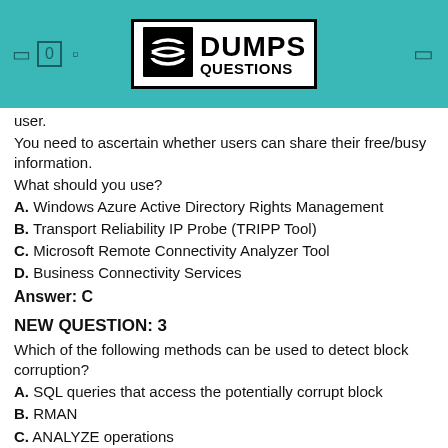DUMPS QUESTIONS
user.
You need to ascertain whether users can share their free/busy information.
What should you use?
A. Windows Azure Active Directory Rights Management
B. Transport Reliability IP Probe (TRIPP Tool)
C. Microsoft Remote Connectivity Analyzer Tool
D. Business Connectivity Services
Answer: C
NEW QUESTION: 3
Which of the following methods can be used to detect block corruption?
A. SQL queries that access the potentially corrupt block
B. RMAN
C. ANALYZE operations